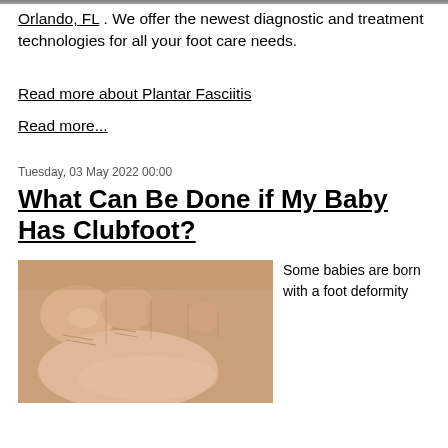Orlando, FL . We offer the newest diagnostic and treatment technologies for all your foot care needs.
Read more about Plantar Fasciitis
Read more...
Tuesday, 03 May 2022 00:00
What Can Be Done if My Baby Has Clubfoot?
[Figure (photo): Close-up photo of a baby's foot showing toes and foot skin, relevant to clubfoot article]
Some babies are born with a foot deformity